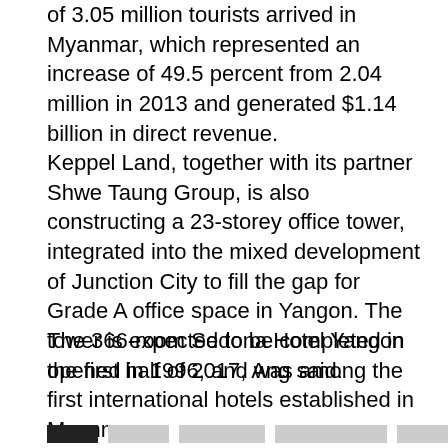of 3.05 million tourists arrived in Myanmar, which represented an increase of 49.5 percent from 2.04 million in 2013 and generated $1.14 billion in direct revenue.
Keppel Land, together with its partner Shwe Taung Group, is also constructing a 23-storey office tower, integrated into the mixed development of Junction City to fill the gap for Grade A office space in Yangon. The tower is expected to be completed in the first half of 2017, Ang said.
The 366-room Sedona Hotel Yangon opened in 1996, and was among the first international hotels established in Myanmar.